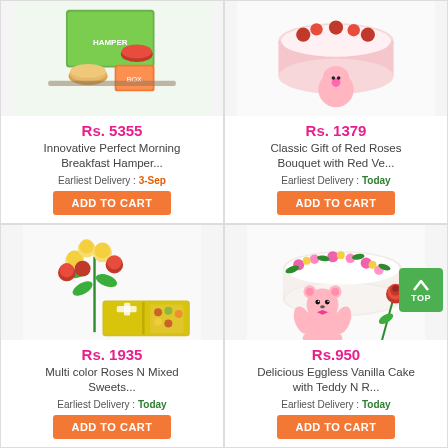[Figure (photo): Gift hamper with breakfast items and sweets]
Rs. 5355
Innovative Perfect Morning Breakfast Hamper...
Earliest Delivery : 3-Sep
ADD TO CART
[Figure (photo): Classic red roses bouquet with red velvet cake]
Rs. 1379
Classic Gift of Red Roses Bouquet with Red Ve...
Earliest Delivery : Today
ADD TO CART
[Figure (photo): Multi color roses arrangement with mixed sweets box]
Rs. 1935
Multi color Roses N Mixed Sweets...
Earliest Delivery : Today
ADD TO CART
[Figure (photo): Eggless vanilla cake with pink teddy bear and red rose]
Rs.950
Delicious Eggless Vanilla Cake with Teddy N R...
Earliest Delivery : Today